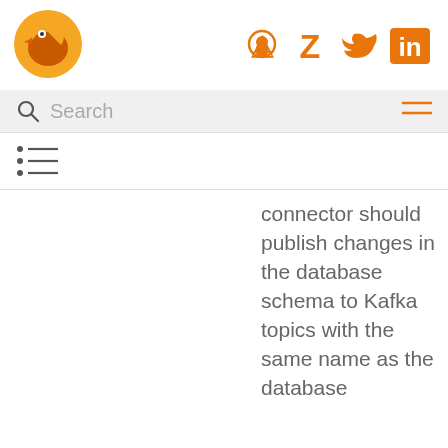[Figure (logo): Orange fox/bird logo]
[Figure (infographic): Social icons: GitHub, Zotero, Twitter, LinkedIn in orange]
[Figure (screenshot): Search bar with magnifying glass icon and hamburger menu]
[Figure (infographic): Table of contents / list icon]
connector should publish changes in the database schema to Kafka topics with the same name as the database